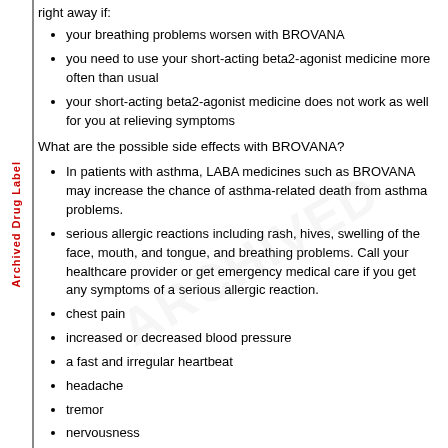right away if:
your breathing problems worsen with BROVANA
you need to use your short-acting beta2-agonist medicine more often than usual
your short-acting beta2-agonist medicine does not work as well for you at relieving symptoms
What are the possible side effects with BROVANA?
In patients with asthma, LABA medicines such as BROVANA may increase the chance of asthma-related death from asthma problems.
serious allergic reactions including rash, hives, swelling of the face, mouth, and tongue, and breathing problems. Call your healthcare provider or get emergency medical care if you get any symptoms of a serious allergic reaction.
chest pain
increased or decreased blood pressure
a fast and irregular heartbeat
headache
tremor
nervousness
dry mouth
muscle cramps